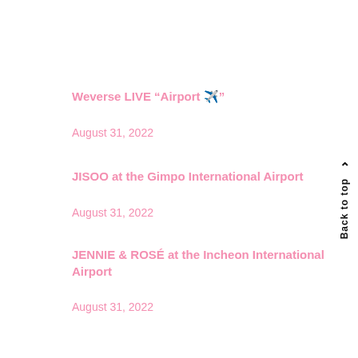Weverse LIVE “Airport ✈️”
August 31, 2022
JISOO at the Gimpo International Airport
August 31, 2022
JENNIE & ROSÉ at the Incheon International Airport
August 31, 2022